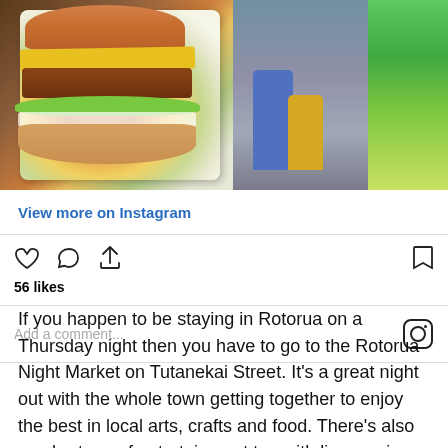[Figure (photo): Instagram post showing a burger on the left and two people at a market stall on the right with colorful products]
View more on Instagram
56 likes
Add a comment...
If you happen to be staying in Rotorua on a Thursday night then you have to go to the Rotorua Night Market on Tutanekai Street. It's a great night out with the whole town getting together to enjoy the best in local arts, crafts and food. There's also no shortage of entertainment too with live music and other acts featuring regularly! It's pretty cool in the winter months as well – there is something warming about the different food stalls and people all huddled